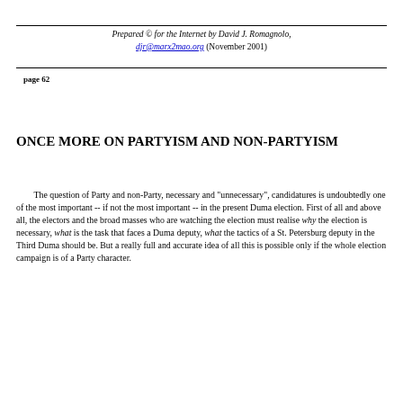Prepared © for the Internet by David J. Romagnolo, djr@marx2mao.org (November 2001)
page 62
ONCE MORE ON PARTYISM AND NON-PARTYISM
The question of Party and non-Party, necessary and "unnecessary", candidatures is undoubtedly one of the most important -- if not the most important -- in the present Duma election. First of all and above all, the electors and the broad masses who are watching the election must realise why the election is necessary, what is the task that faces a Duma deputy, what the tactics of a St. Petersburg deputy in the Third Duma should be. But a really full and accurate idea of all this is possible only if the whole election campaign is of a Party character.